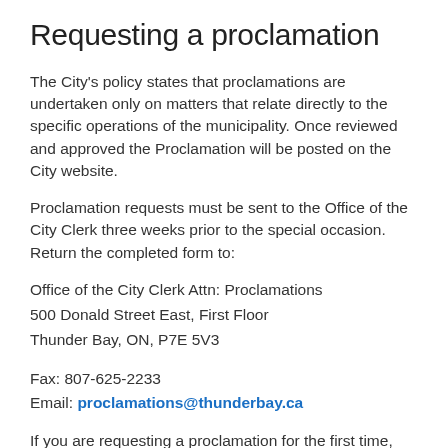Requesting a proclamation
The City's policy states that proclamations are undertaken only on matters that relate directly to the specific operations of the municipality. Once reviewed and approved the Proclamation will be posted on the City website.
Proclamation requests must be sent to the Office of the City Clerk three weeks prior to the special occasion. Return the completed form to:
Office of the City Clerk Attn: Proclamations
500 Donald Street East, First Floor
Thunder Bay, ON, P7E 5V3
Fax: 807-625-2233
Email: proclamations@thunderbay.ca
If you are requesting a proclamation for the first time, please provide details on your organization and the relevance of the proclamation to the City of Thunder Bay.